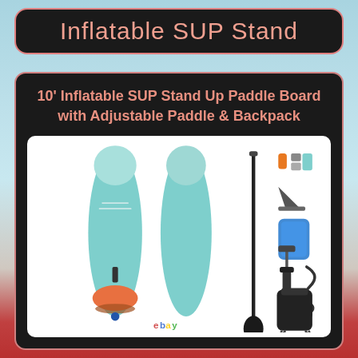Inflatable SUP Stand
10' Inflatable SUP Stand Up Paddle Board with Adjustable Paddle & Backpack
[Figure (photo): Product photo showing an inflatable SUP stand-up paddle board set including two views of the teal/mint colored board (front and back), an adjustable paddle, fin, hand pump, ankle leash, waterproof phone case, repair kit, and black backpack carrying bag. eBay watermark visible at bottom.]